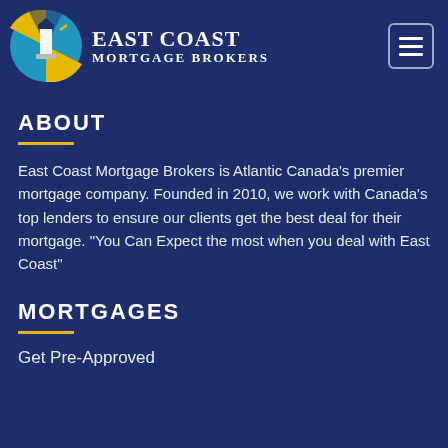[Figure (logo): East Coast Mortgage Brokers logo: circular icon with lighthouse, blue and yellow colors, with company name text to the right]
ABOUT
East Coast Mortgage Brokers is Atlantic Canada's premier mortgage company. Founded in 2010, we work with Canada's top lenders to ensure our clients get the best deal for their mortgage. "You Can Expect the most when you deal with East Coast"
MORTGAGES
Get Pre-Approved